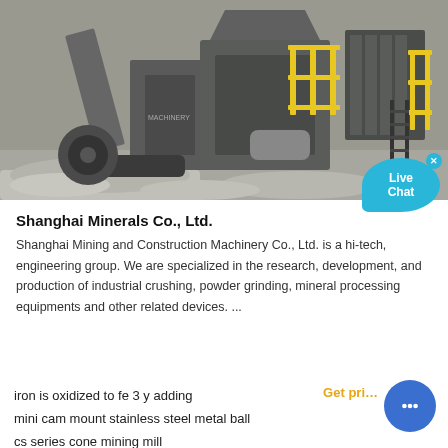[Figure (photo): Mining and construction machinery at a quarry site — large industrial crushers and processing equipment with yellow safety railings, tracked vehicle on left, rocky gravel ground.]
Shanghai Minerals Co., Ltd.
Shanghai Mining and Construction Machinery Co., Ltd. is a hi-tech, engineering group. We are specialized in the research, development, and production of industrial crushing, powder grinding, mineral processing equipments and other related devices. ...
iron is oxidized to fe 3 y adding
mini cam mount stainless steel metal ball
cs series cone mining mill
does parvovirus lead to less production of red blood cells